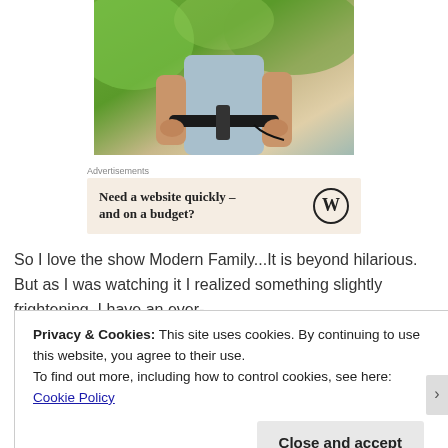[Figure (photo): Partial photo of a person in a light blue shirt riding a bicycle, handlebar visible, green blurred background]
Advertisements
[Figure (screenshot): WordPress advertisement banner: 'Need a website quickly – and on a budget?' with WordPress logo]
So I love the show Modern Family...It is beyond hilarious. But as I was watching it I realized something slightly frightening, I have an ever-
Privacy & Cookies: This site uses cookies. By continuing to use this website, you agree to their use.
To find out more, including how to control cookies, see here: Cookie Policy
Close and accept